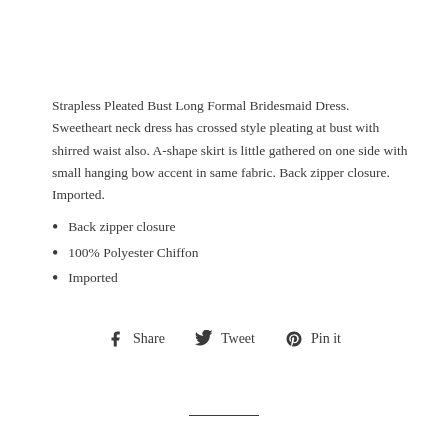Strapless Pleated Bust Long Formal Bridesmaid Dress. Sweetheart neck dress has crossed style pleating at bust with shirred waist also. A-shape skirt is little gathered on one side with small hanging bow accent in same fabric. Back zipper closure. Imported.
Back zipper closure
100% Polyester Chiffon
Imported
Share  Tweet  Pin it